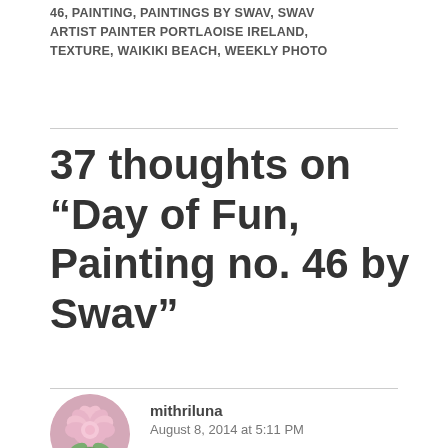46, PAINTING, PAINTINGS BY SWAV, SWAV ARTIST PAINTER PORTLAOISE IRELAND, TEXTURE, WAIKIKI BEACH, WEEKLY PHOTO
37 thoughts on “Day of Fun, Painting no. 46 by Swav”
mithriluna
August 8, 2014 at 5:11 PM
Beautiful painting and very enjoyable post. Thank you for sharing your gift with us.